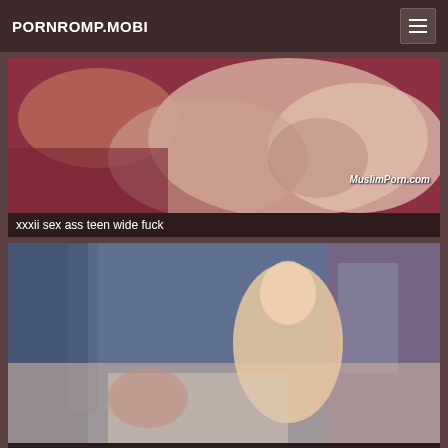PORNROMP.MOBI
[Figure (screenshot): Video thumbnail showing close-up skin tones with MuslimPorn.com watermark]
xxxii sex ass teen wide fuck
[Figure (screenshot): Video thumbnail showing a blonde woman on a bed in a room]
xxx hd and long sex milf movies